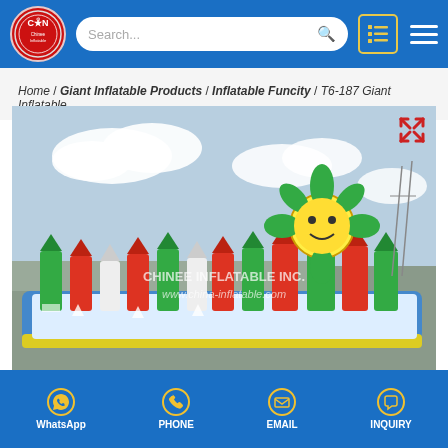Chinee Inflatable Inc. website header with logo, search bar, list icon, and hamburger menu
Home / Giant Inflatable Products / Inflatable Funcity / T6-187 Giant Inflatable
[Figure (photo): Large inflatable fun city structure with colorful pencil-shaped inflatables and a flower/sun character, set on a blue inflatable base. Watermark reads: CHINEE INFLATABLE INC. www.china-inflatable.com]
WhatsApp | PHONE | EMAIL | INQUIRY